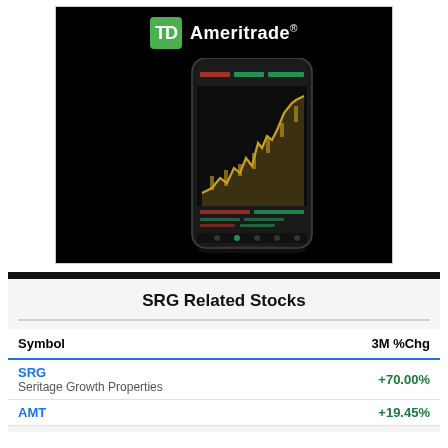[Figure (screenshot): TD Ameritrade advertisement showing a smartphone with a trading/charting app displaying a golden candlestick/line chart on a dark background.]
SRG Related Stocks
| Symbol | 3M %Chg |
| --- | --- |
| SRG
Seritage Growth Properties | +70.00% |
| AMT | +19.45% |